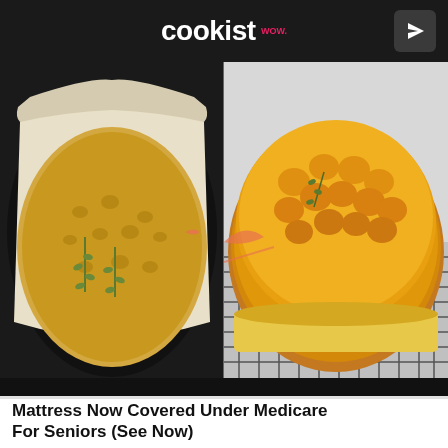cookist
[Figure (photo): Two side-by-side food photos: left shows focaccia dough in a black baking pan with rosemary sprigs before baking; right shows a golden baked focaccia bread on a wire cooling rack]
Mattress Now Covered Under Medicare For Seniors (See Now)